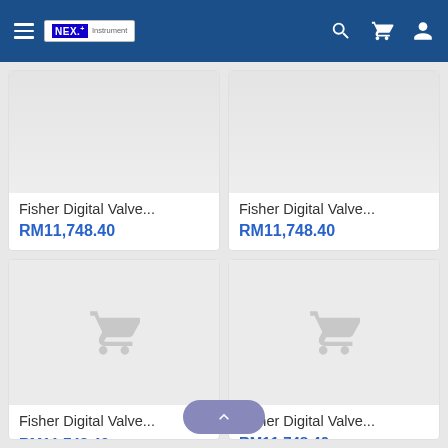NEX. Instrument — navigation header with hamburger menu, logo, search, cart, and user icons
[Figure (screenshot): Product image placeholder (light gray) for Fisher Digital Valve... top-left]
Fisher Digital Valve...
RM11,748.40
[Figure (screenshot): Product image placeholder (light gray) for Fisher Digital Valve... top-right]
Fisher Digital Valve...
RM11,748.40
[Figure (screenshot): Product image placeholder with cart icon for Fisher Digital Valve... bottom-left]
Fisher Digital Valve...
RM11,748.40
[Figure (screenshot): Product image placeholder with cart icon for Fisher Digital Valve... bottom-right]
Fisher Digital Valve...
RM11,748.40